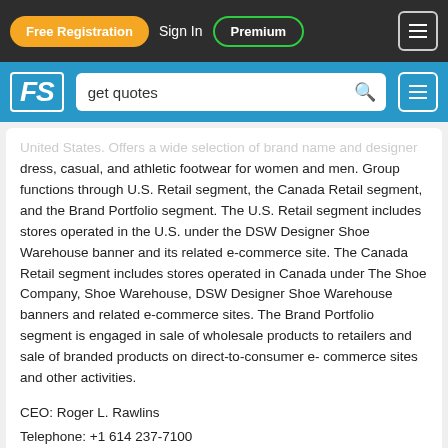Free Registration  Sign In  Premium
FS  get quotes
United States. Offers a wide selection of brand name and designer dress, casual, and athletic footwear for women and men. Group functions through U.S. Retail segment, the Canada Retail segment, and the Brand Portfolio segment. The U.S. Retail segment includes stores operated in the U.S. under the DSW Designer Shoe Warehouse banner and its related e-commerce site. The Canada Retail segment includes stores operated in Canada under The Shoe Company, Shoe Warehouse, DSW Designer Shoe Warehouse banners and related e-commerce sites. The Brand Portfolio segment is engaged in sale of wholesale products to retailers and sale of branded products on direct-to-consumer e-commerce sites and other activities.
CEO: Roger L. Rawlins
Telephone: +1 614 237-7100
Address: 810 DSW Drive, Columbus 43219, OH, US
Number of employees: 15 800
Bearish or Bullish?